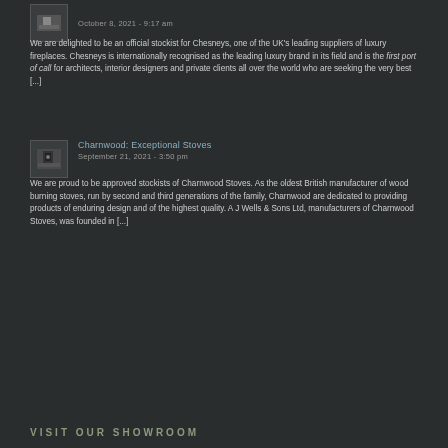October 8, 2021 - 9:17 am
We are delighted to be an official stockist for Chesneys, one of the UK's leading suppliers of luxury fireplaces. Chesneys is internationally recognised as the leading luxury brand in its field and is the first port of call for architects, interior designers and private clients all over the world who are seeking the very best [...]
Charnwood: Exceptional Stoves
September 21, 2021 - 3:50 pm
We are proud to be approved stockists of Charnwood Stoves. As the oldest British manufacturer of wood burning stoves, run by second and third generations of the family, Charnwood are dedicated to providing products of enduring design and of the highest quality. A J Wells & Sons Ltd, manufacturers of Charnwood Stoves, was founded in [...]
VISIT OUR SHOWROOM